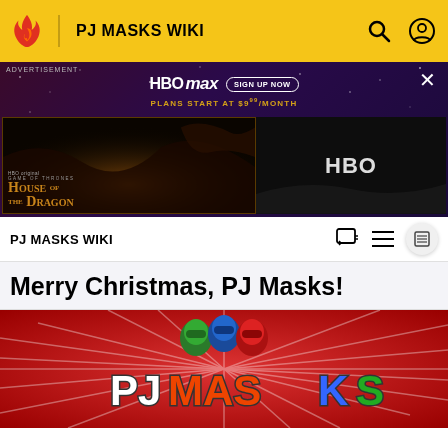PJ MASKS WIKI
[Figure (screenshot): HBO Max advertisement banner featuring House of the Dragon. Top shows HBO max logo with 'SIGN UP NOW' button and 'PLANS START AT $9.99/MONTH'. Below are two panels: left shows House of the Dragon dark fantasy art, right shows HBO logo on dark background.]
ADVERTISEMENT
PJ MASKS WIKI
Merry Christmas, PJ Masks!
[Figure (illustration): PJ Masks logo on red background with radiating white lines. Three character heads (green, blue, red) visible above the colorful PJ MASKS lettering.]